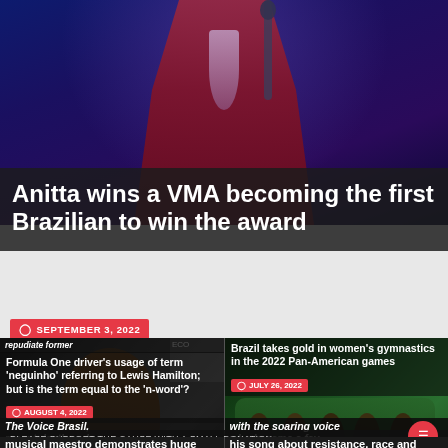[Figure (photo): Woman in red dress holding a VMA trophy on a dark blue stage background]
Anitta wins a VMA becoming the first Brazilian to win the award
SEPTEMBER 3, 2022
[Figure (photo): Portrait of a man, dark background, related to Formula One Lewis Hamilton story]
repudiate former Formula One driver's usage of term 'neguinho' referring to Lewis Hamilton; but is the term equal to the 'n-word'?
AUGUST 4, 2022
[Figure (photo): Brazilian women's gymnastics team celebrating gold medal with Brazilian flag colors]
Brazil takes gold in women's gymnastics in the 2022 Pan-American games
JULY 26, 2022
The Voice Brasil, recent death and
with the soaring voice who became a fav
PLEASE SUPPORT THE CAUSE WITH A SMALL DONATION
musical maestro demonstrates huge
his song about resistance, race and